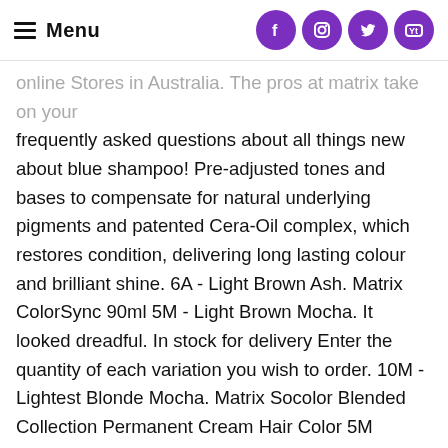Menu
online Stores in Australia. The pros at matrix take on your frequently asked questions about all things new about blue shampoo! Pre-adjusted tones and bases to compensate for natural underlying pigments and patented Cera-Oil complex, which restores condition, delivering long lasting colour and brilliant shine. 6A - Light Brown Ash. Matrix ColorSync 90ml 5M - Light Brown Mocha. It looked dreadful. In stock for delivery Enter the quantity of each variation you wish to order. 10M - Lightest Blonde Mocha. Matrix Socolor Blended Collection Permanent Cream Hair Color 5M Medium Brown Mocha: Amazon.in: Beauty Matrix Socolor Permanent Hair Colour / Tint 5M Light Brown Mocha: Amazon.co.uk: Beauty. Skip to main content.co.uk. Registered Offices: 6 Whitefriars Crescent Perth, PH2 0PA 57 Cotton Street, Aberdeen, AB11 5EG ... Shop with confidence on eBay! Matrix SoColor Medium Brown...